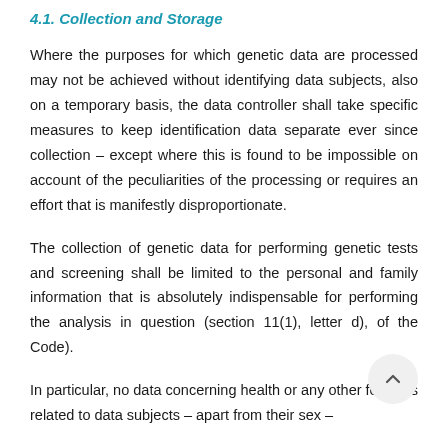4.1. Collection and Storage
Where the purposes for which genetic data are processed may not be achieved without identifying data subjects, also on a temporary basis, the data controller shall take specific measures to keep identification data separate ever since collection – except where this is found to be impossible on account of the peculiarities of the processing or requires an effort that is manifestly disproportionate.
The collection of genetic data for performing genetic tests and screening shall be limited to the personal and family information that is absolutely indispensable for performing the analysis in question (section 11(1), letter d), of the Code).
In particular, no data concerning health or any other features related to data subjects – apart from their sex –